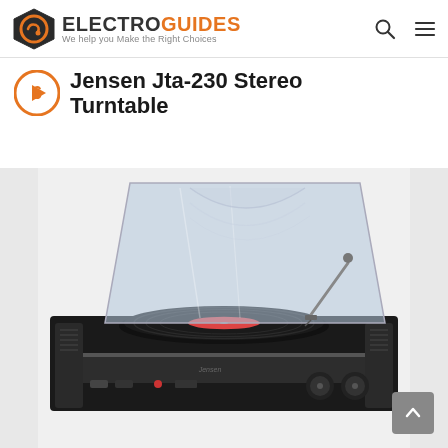ELECTROGUIDES – We help you Make the Right Choices
6 Jensen Jta-230 Stereo Turntable
[Figure (photo): Jensen JTA-230 stereo turntable with transparent dust cover open, black body with a vinyl record on the platter (red center label), tonearm in position, front panel with knobs and controls visible.]